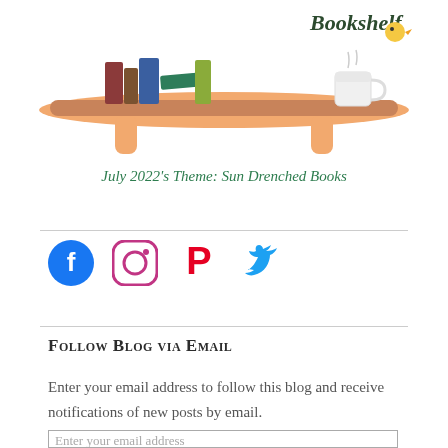[Figure (illustration): Illustration of a wooden bookshelf with stacked books and a tea cup, with decorative script logo 'Bookshelf' at top right]
July 2022's Theme: Sun Drenched Books
[Figure (infographic): Social media icons row: Facebook (blue circle with f), Instagram (gradient camera icon), Pinterest (red P), Twitter (blue bird)]
Follow Blog via Email
Enter your email address to follow this blog and receive notifications of new posts by email.